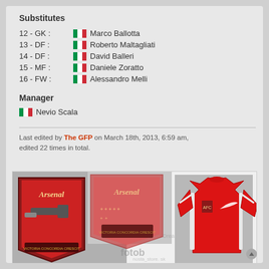Substitutes
12 - GK : [IT flag] Marco Ballotta
13 - DF : [IT flag] Roberto Maltagliati
14 - DF : [IT flag] David Balleri
15 - MF : [IT flag] Daniele Zoratto
16 - FW : [IT flag] Alessandro Melli
Manager
[IT flag] Nevio Scala
Last edited by The GFP on March 18th, 2013, 6:59 am, edited 22 times in total.
[Figure (illustration): Arsenal FC badge/crest images and a red Arsenal Nike jersey/shirt, with watermarks from fotob and nostastore.sk and Dreamcast]